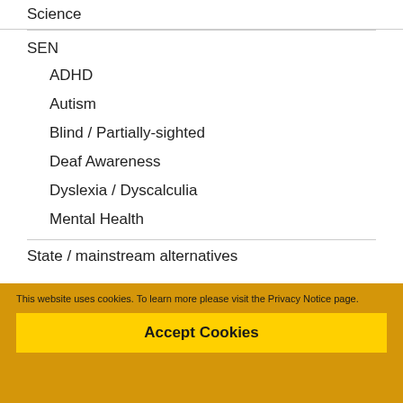Science
SEN
ADHD
Autism
Blind / Partially-sighted
Deaf Awareness
Dyslexia / Dyscalculia
Mental Health
State / mainstream alternatives
This website uses cookies. To learn more please visit the Privacy Notice page.
Accept Cookies